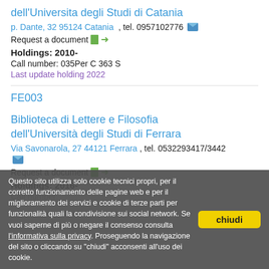dell'Universita degli Studi di Catania
p. Dante, 32 95124 Catania , tel. 0957102776 [email icon]
Request a document [doc icon][arrow]
Holdings: 2010-
Call number: 035Per C 363 S
Last update holding 2022
FE003
Biblioteca di Lettere e Filosofia dell'Università degli Studi di Ferrara
Via Savonarola, 27 44121 Ferrara , tel. 0532293417/3442 [email icon]
Request a document [doc icon][arrow]
Holdings: 2016-
Call number: [faded]
Questo sito utilizza solo cookie tecnici propri, per il corretto funzionamento delle pagine web e per il miglioramento dei servizi e cookie di terze parti per funzionalità quali la condivisione sui social network. Se vuoi saperne di più o negare il consenso consulta l'informativa sulla privacy. Proseguendo la navigazione del sito o cliccando su "chiudi" acconsenti all'uso dei cookie.